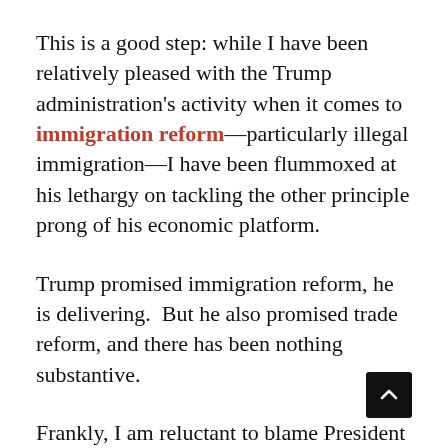This is a good step: while I have been relatively pleased with the Trump administration's activity when it comes to immigration reform—particularly illegal immigration—I have been flummoxed at his lethargy on tackling the other principle prong of his economic platform.
Trump promised immigration reform, he is delivering.  But he also promised trade reform, and there has been nothing substantive.
Frankly, I am reluctant to blame President Trump on this front, given his longstanding (rhetorical) commitment to trade reform, which dates back to at least the late 1980s—especially since he vociferously denounces companies who offshore